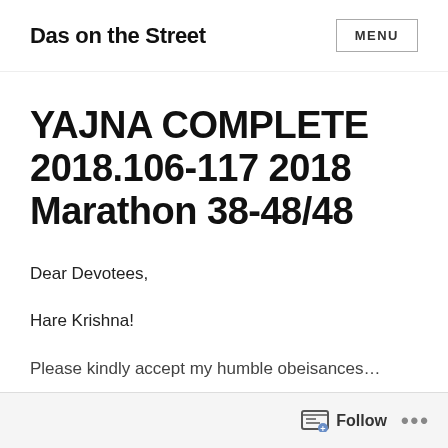Das on the Street  MENU
YAJNA COMPLETE 2018.106-117 2018 Marathon 38-48/48
Dear Devotees,
Hare Krishna!
Please kindly accept my humble obeisances…
Follow  •••